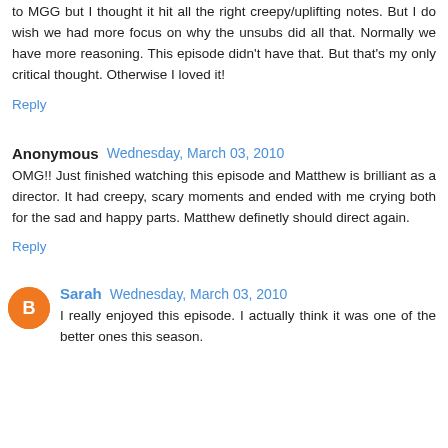to MGG but I thought it hit all the right creepy/uplifting notes. But I do wish we had more focus on why the unsubs did all that. Normally we have more reasoning. This episode didn't have that. But that's my only critical thought. Otherwise I loved it!
Reply
Anonymous  Wednesday, March 03, 2010
OMG!! Just finished watching this episode and Matthew is brilliant as a director. It had creepy, scary moments and ended with me crying both for the sad and happy parts. Matthew definetly should direct again.
Reply
Sarah  Wednesday, March 03, 2010
I really enjoyed this episode. I actually think it was one of the better ones this season.